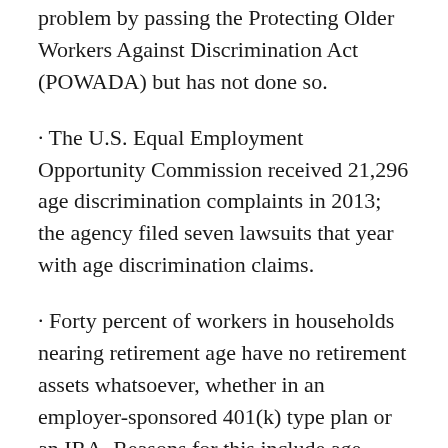problem by passing the Protecting Older Workers Against Discrimination Act (POWADA) but has not done so.
· The U.S. Equal Employment Opportunity Commission received 21,296 age discrimination complaints in 2013; the agency filed seven lawsuits that year with age discrimination claims.
· Forty percent of workers in households nearing retirement age have no retirement assets whatsoever, whether in an employer-sponsored 401(k) type plan or an IRA. Reasons for this include age discrimination, long-term unemployment, and the decline of traditional pensions.